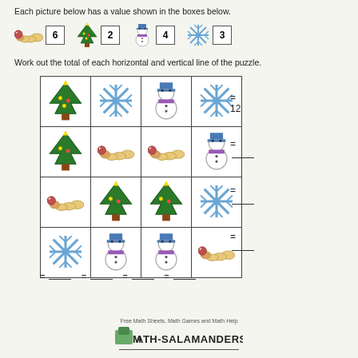Each picture below has a value shown in the boxes below.
[Figure (illustration): Four picture-value pairs: worm=6, Christmas tree=2, snowman=4, snowflake=3]
Work out the total of each horizontal and vertical line of the puzzle.
[Figure (table-as-image): 4x4 grid puzzle with Christmas icons: Row1: tree,snowflake,snowman,snowflake=12; Row2: tree,worm,worm,snowman=___; Row3: worm,tree,tree,snowflake=___; Row4: snowflake,snowman,snowman,worm=___; Column totals all blank.]
= ___   = ___   = ___   = ___
[Figure (logo): Math-Salamanders.com logo with Free Math Sheets, Math Games and Math Help tagline]